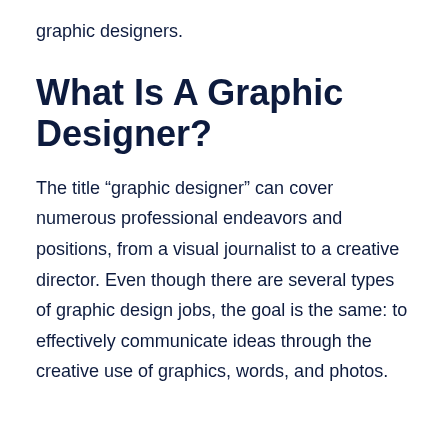graphic designers.
What Is A Graphic Designer?
The title “graphic designer” can cover numerous professional endeavors and positions, from a visual journalist to a creative director. Even though there are several types of graphic design jobs, the goal is the same: to effectively communicate ideas through the creative use of graphics, words, and photos.